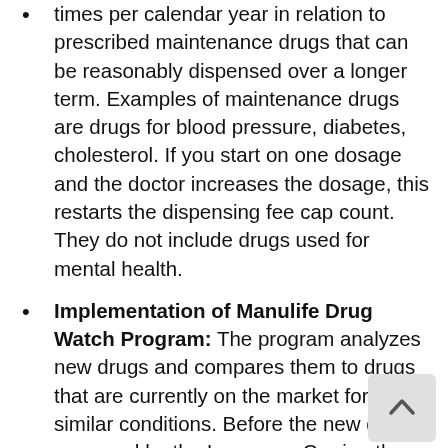times per calendar year in relation to prescribed maintenance drugs that can be reasonably dispensed over a longer term. Examples of maintenance drugs are drugs for blood pressure, diabetes, cholesterol. If you start on one dosage and the doctor increases the dosage, this restarts the dispensing fee cap count. They do not include drugs used for mental health.
Implementation of Manulife Drug Watch Program: The program analyzes new drugs and compares them to drugs that are currently on the market for similar conditions. Before the new drug is approved by the Insurance Carrier, they have to undergo the review process to limit the cost of new drugs.
Specialty Drug Care Program: Mandatory program which provides a nurse case manager for individuals taking medications to treat complex chronic or life-threatening conditions to assist with